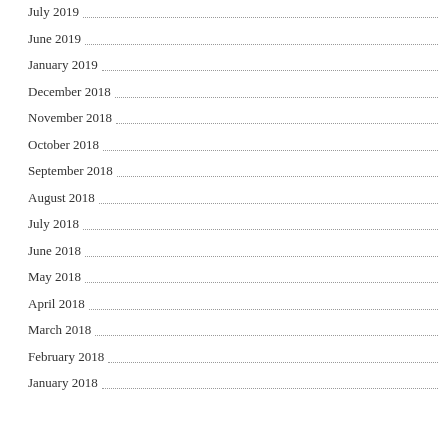July 2019
June 2019
January 2019
December 2018
November 2018
October 2018
September 2018
August 2018
July 2018
June 2018
May 2018
April 2018
March 2018
February 2018
January 2018